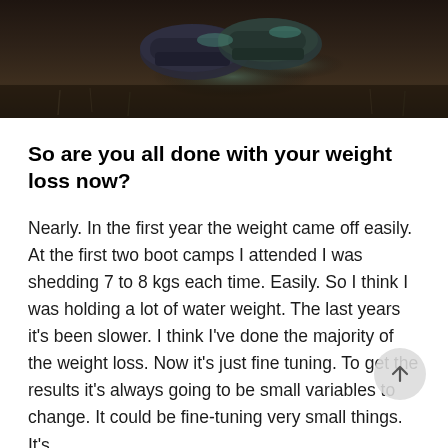[Figure (photo): Partial bottom section of a photo showing feet/shoes on dark muddy ground with grass, dark earthy tones]
So are you all done with your weight loss now?
Nearly. In the first year the weight came off easily. At the first two boot camps I attended I was shedding 7 to 8 kgs each time. Easily. So I think I was holding a lot of water weight. The last years it's been slower. I think I've done the majority of the weight loss. Now it's just fine tuning. To get the results it's always going to be small variables to change. It could be fine-tuning very small things. It's